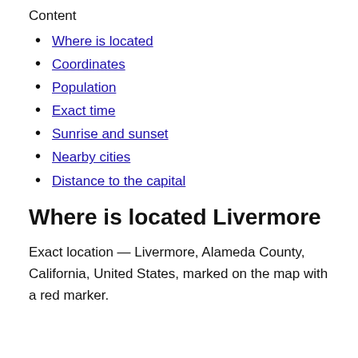Content
Where is located
Coordinates
Population
Exact time
Sunrise and sunset
Nearby cities
Distance to the capital
Where is located Livermore
Exact location — Livermore, Alameda County, California, United States, marked on the map with a red marker.